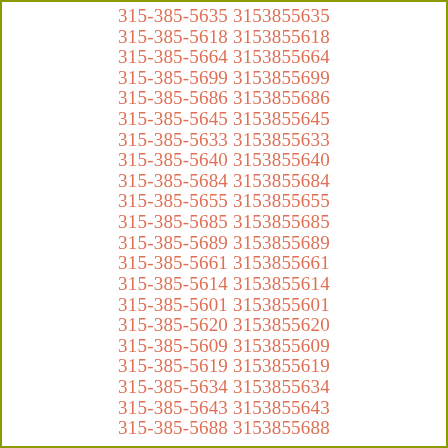315-385-5635 3153855635
315-385-5618 3153855618
315-385-5664 3153855664
315-385-5699 3153855699
315-385-5686 3153855686
315-385-5645 3153855645
315-385-5633 3153855633
315-385-5640 3153855640
315-385-5684 3153855684
315-385-5655 3153855655
315-385-5685 3153855685
315-385-5689 3153855689
315-385-5661 3153855661
315-385-5614 3153855614
315-385-5601 3153855601
315-385-5620 3153855620
315-385-5609 3153855609
315-385-5619 3153855619
315-385-5634 3153855634
315-385-5643 3153855643
315-385-5688 3153855688